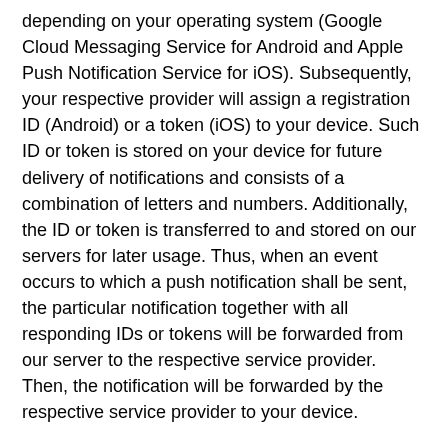depending on your operating system (Google Cloud Messaging Service for Android and Apple Push Notification Service for iOS). Subsequently, your respective provider will assign a registration ID (Android) or a token (iOS) to your device. Such ID or token is stored on your device for future delivery of notifications and consists of a combination of letters and numbers. Additionally, the ID or token is transferred to and stored on our servers for later usage. Thus, when an event occurs to which a push notification shall be sent, the particular notification together with all responding IDs or tokens will be forwarded from our server to the respective service provider. Then, the notification will be forwarded by the respective service provider to your device.
2.    Legal basis and purpose: We process your data for the purpose of delivering the requested information. Furthermore, we process your data for the purpose of the effective marketing of our offer as well as for the purpose of direct promotional communication. In no case will you receive push notifications without your prior consent